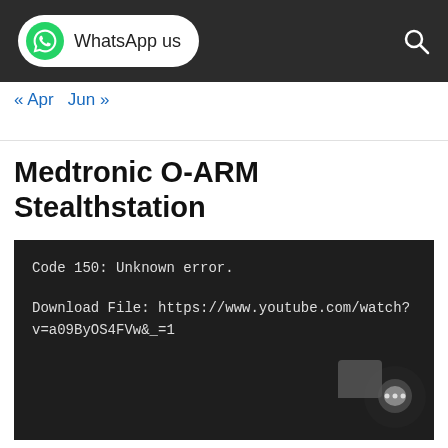WhatsApp us
« Apr  Jun »
Medtronic O-ARM Stealthstation
[Figure (screenshot): Video player error screen with dark background showing: Code 150: Unknown error. Download File: https://www.youtube.com/watch?v=a09ByOS4FVw&_=1]